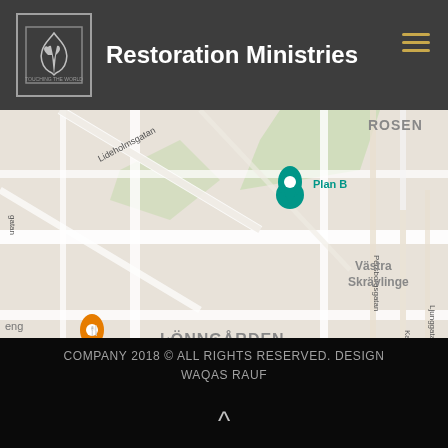Restoration Ministries
[Figure (map): Google Maps screenshot showing area of Malmö, Sweden including neighborhoods LÖNNGÅRDEN, PERSBORG, Västra Skrävlinge, ROSEN, landmarks Go Kart City Malmö, Plan B, Burek & Ćevapi Mästarna, and Malmö Persborg station.]
COMPANY 2018 © ALL RIGHTS RESERVED. DESIGN WAQAS RAUF